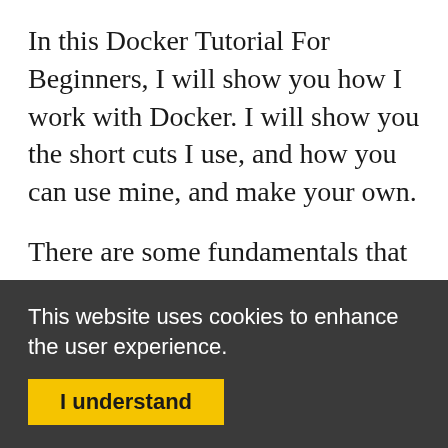In this Docker Tutorial For Beginners, I will show you how I work with Docker. I will show you the short cuts I use, and how you can use mine, and make your own.
There are some fundamentals that we need to learn. I keep them as brief and concise as possible, but please don't
This website uses cookies to enhance the user experience.
I understand